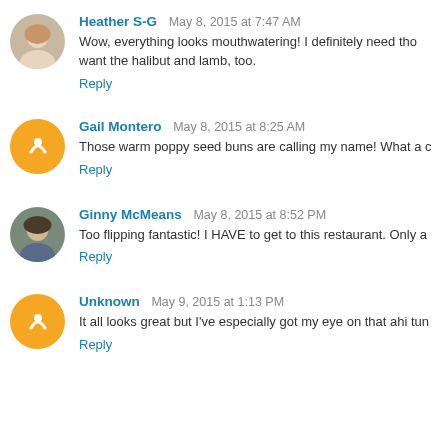Heather S-G  May 8, 2015 at 7:47 AM
Wow, everything looks mouthwatering! I definitely need tho... want the halibut and lamb, too.
Reply
Gail Montero  May 8, 2015 at 8:25 AM
Those warm poppy seed buns are calling my name! What a...
Reply
Ginny McMeans  May 8, 2015 at 8:52 PM
Too flipping fantastic! I HAVE to get to this restaurant. Only a...
Reply
Unknown  May 9, 2015 at 1:13 PM
It all looks great but I've especially got my eye on that ahi tun...
Reply